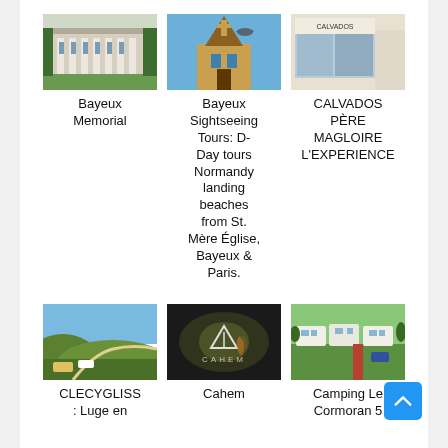[Figure (photo): Bayeux Memorial building with columns and green lawn]
[Figure (photo): Bayeux church with bird flying in front against blue sky]
[Figure (photo): Calvados Experience storefront with yellow signage]
Bayeux Memorial
Bayeux Sightseeing Tours: D-Day tours Normandy landing beaches from St. Mère Église, Bayeux & Paris.
CALVADOS PÈRE MAGLOIRE L'EXPERIENCE
[Figure (photo): CLECYGLISS luge en hills landscape aerial view]
[Figure (photo): Cahem dark venue interior with logo]
[Figure (photo): Camping Le Cormoran 5 mobile homes in green park]
CLECYGLISS : Luge en
Cahem
Camping Le Cormoran 5